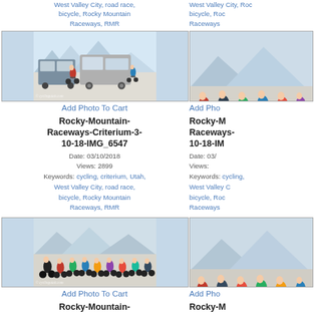West Valley City, road race, bicycle, Rocky Mountain Raceways, RMR
West Valley City, road race, bicycle, Rocky Mountain Raceways, RMR
[Figure (photo): Cyclists in a road race near parked vehicles, cycling criterium event at Rocky Mountain Raceways, watermark cyclingutah.com]
Add Photo To Cart
Rocky-Mountain-Raceways-Criterium-3-10-18-IMG_6547
Date: 03/10/2018
Views: 2899
Keywords: cycling, criterium, Utah, West Valley City, road race, bicycle, Rocky Mountain Raceways, RMR
[Figure (photo): Group of cyclists racing in criterium event, watermark cyclingutah.com (partially cropped right side)]
Add Photo To Cart
Rocky-M Raceways- 10-18-IM
Date: 03/ Views: Keywords: cycling, West Valley C bicycle, Roc Raceways
[Figure (photo): Large group of cyclists in road race at Rocky Mountain Raceways, mountains in background, watermark cyclingutah.com]
Add Photo To Cart
Rocky-Mountain-
[Figure (photo): Group of cyclists racing, partially visible on right side, watermark cyclingutah.com]
Add Photo To Cart
Rocky-M